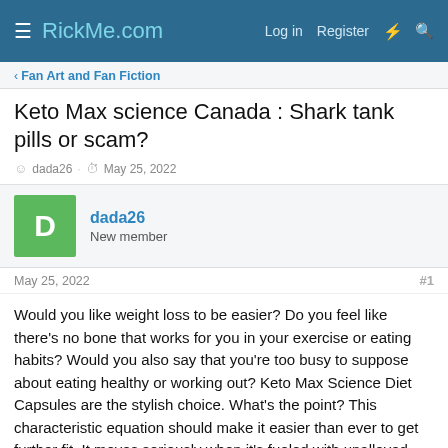RickMe.com  Log in  Register
Fan Art and Fan Fiction
Keto Max science Canada : Shark tank pills or scam?
dada26 · May 25, 2022
dada26
New member
May 25, 2022  #1
Would you like weight loss to be easier? Do you feel like there's no bone that works for you in your exercise or eating habits? Would you also say that you're too busy to suppose about eating healthy or working out? Keto Max Science Diet Capsules are the stylish choice. What's the point? This characteristic equation should make it easier than ever to get further fit. It moves seriously when it's fueled with unalloyed heat. Weight loss supplements can help you lose redundant water weight.